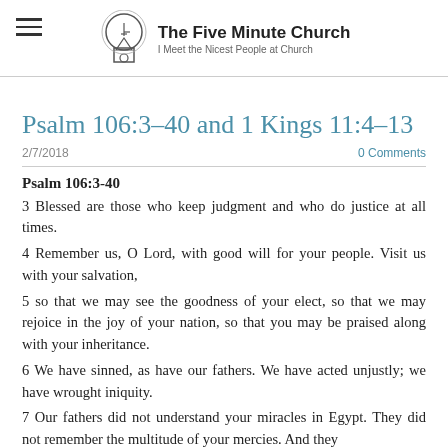The Five Minute Church | I Meet the Nicest People at Church
Psalm 106:3-40 and 1 Kings 11:4-13
2/7/2018   0 Comments
Psalm 106:3-40
3 Blessed are those who keep judgment and who do justice at all times.
4 Remember us, O Lord, with good will for your people. Visit us with your salvation,
5 so that we may see the goodness of your elect, so that we may rejoice in the joy of your nation, so that you may be praised along with your inheritance.
6 We have sinned, as have our fathers. We have acted unjustly; we have wrought iniquity.
7 Our fathers did not understand your miracles in Egypt. They did not remember the multitude of your mercies. And they